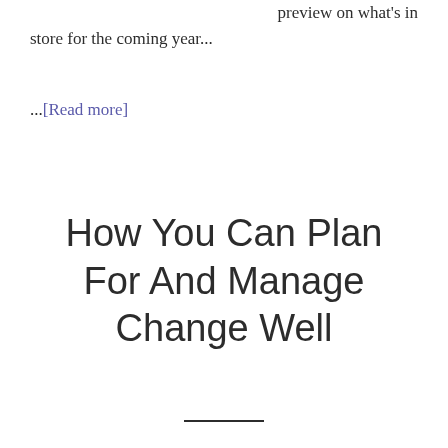preview on what's in store for the coming year...
...[Read more]
How You Can Plan For And Manage Change Well